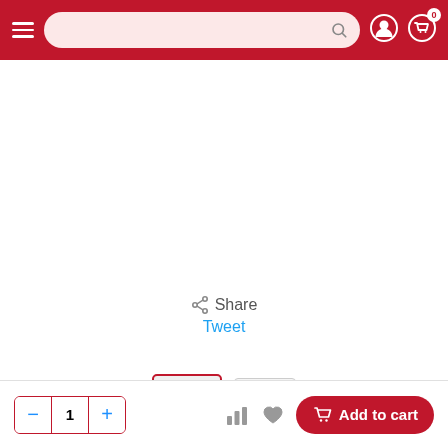[Figure (screenshot): E-commerce product page screenshot showing a red navigation bar with hamburger menu, search bar, user icon, and cart icon with badge '0'; a white main product image area; two product thumbnails (first selected with red border); Share and Tweet social buttons; and a bottom action bar with quantity controls (minus, 1, plus), bar chart icon, heart icon, and red 'Add to cart' button.]